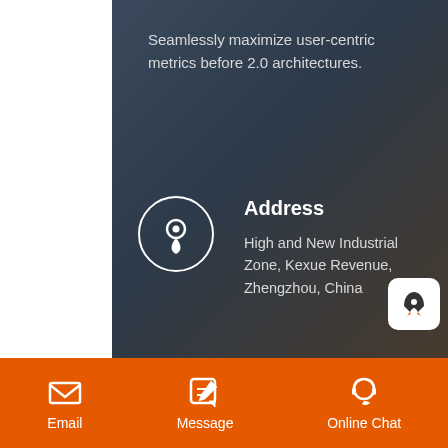Seamlessly maximize user-centric metrics before 2.0 architectures.
Address
High and New Industrial Zone, Kexue Revenue, Zhengzhou, China
E-mail
customer@sinoftm.com
Email
Message
Online Chat